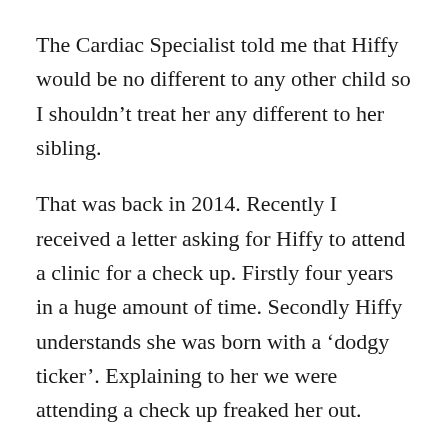The Cardiac Specialist told me that Hiffy would be no different to any other child so I shouldn't treat her any different to her sibling.
That was back in 2014. Recently I received a letter asking for Hiffy to attend a clinic for a check up. Firstly four years in a huge amount of time. Secondly Hiffy understands she was born with a 'dodgy ticker'. Explaining to her we were attending a check up freaked her out.
On the day of the check up we went about business in the normal way. I must have lost a few nights sleep wondering about